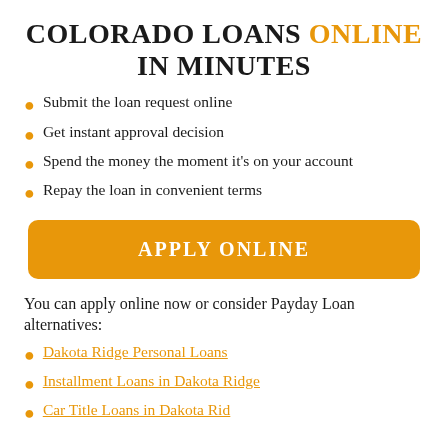COLORADO LOANS ONLINE IN MINUTES
Submit the loan request online
Get instant approval decision
Spend the money the moment it's on your account
Repay the loan in convenient terms
APPLY ONLINE
You can apply online now or consider Payday Loan alternatives:
Dakota Ridge Personal Loans
Installment Loans in Dakota Ridge
Car Title Loans in Dakota Ridge